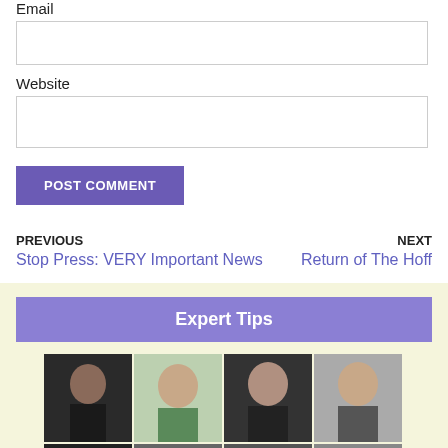Email
Website
POST COMMENT
PREVIOUS
Stop Press: VERY Important News
NEXT
Return of The Hoff
Expert Tips
[Figure (photo): Grid of celebrity/person headshot photos arranged in two rows]